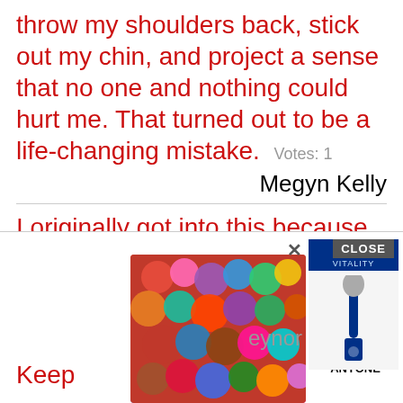throw my shoulders back, stick out my chin, and project a sense that no one and nothing could hurt me. That turned out to be a life-changing mistake. Votes: 1
Megyn Kelly
I originally got into this because of a five-year-old's begrudgery of his teacher. Mrs. Lawlor cast me as a tree, and I was disgusted. I was sure I had more to offer than that. It was like, 'OK, if you want me to be set dressing, fine, I'll take it on the chin but I'll show you - I'm going to be a big actor some day.' Votes: 1
eynor
Keep
[Figure (screenshot): Advertisement overlay showing colorful scrunchies image, '22 / 37 GENIUS AMAZON PRODUCTS THAT CAN BE USED BY ANYONE' ad text, Oral-B Vitality toothbrush ad, CLOSE button, and X close button]